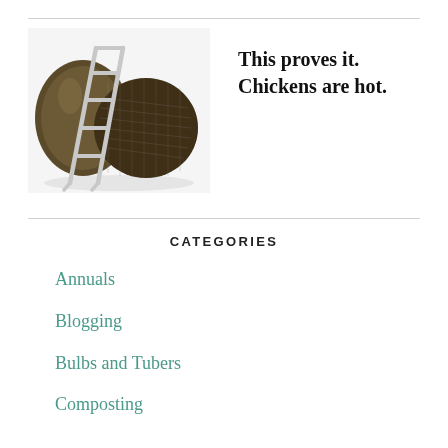[Figure (photo): A modern egg-shaped pod chair or chicken coop with a metallic ladder leaning against it, photographed on a white background.]
This proves it. Chickens are hot.
CATEGORIES
Annuals
Blogging
Bulbs and Tubers
Composting